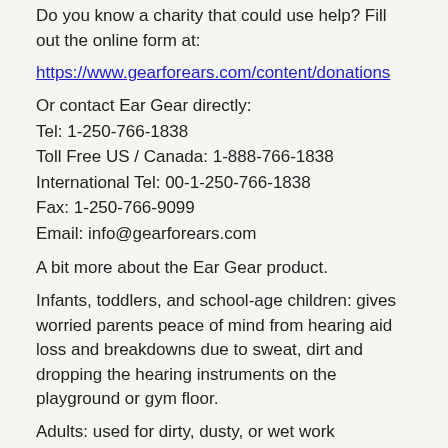Do you know a charity that could use help? Fill out the online form at:
https://www.gearforears.com/content/donations
Or contact Ear Gear directly:
Tel: 1-250-766-1838
Toll Free US / Canada: 1-888-766-1838
International Tel: 00-1-250-766-1838
Fax: 1-250-766-9099
Email: info@gearforears.com
A bit more about the Ear Gear product.
Infants, toddlers, and school-age children: gives worried parents peace of mind from hearing aid loss and breakdowns due to sweat, dirt and dropping the hearing instruments on the playground or gym floor.
Adults: used for dirty, dusty, or wet work environments such as working in the garden, mowing the lawn, or during any sort of